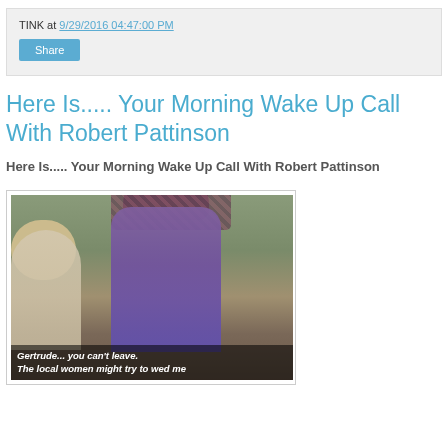TINK at 9/29/2016 04:47:00 PM
Share
Here Is..... Your Morning Wake Up Call With Robert Pattinson
Here Is..... Your Morning Wake Up Call With Robert Pattinson
[Figure (photo): Movie still showing a man in a purple robe and checkered headscarf seated, smiling, with a blonde woman in white to his left. Subtitles read: Gertrude... you can't leave. / The local women might try to wed me]